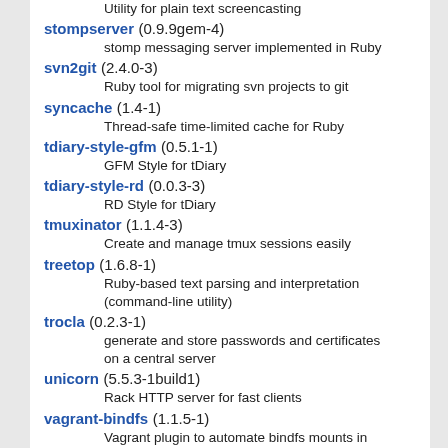Utility for plain text screencasting
stompserver (0.9.9gem-4) — stomp messaging server implemented in Ruby
svn2git (2.4.0-3) — Ruby tool for migrating svn projects to git
syncache (1.4-1) — Thread-safe time-limited cache for Ruby
tdiary-style-gfm (0.5.1-1) — GFM Style for tDiary
tdiary-style-rd (0.0.3-3) — RD Style for tDiary
tmuxinator (1.1.4-3) — Create and manage tmux sessions easily
treetop (1.6.8-1) — Ruby-based text parsing and interpretation (command-line utility)
trocla (0.2.3-1) — generate and store passwords and certificates on a central server
unicorn (5.5.3-1build1) — Rack HTTP server for fast clients
vagrant-bindfs (1.1.5-1) — Vagrant plugin to automate bindfs mounts in the VM
vagrant-cachier (1.2.1-3) — share a common package cache among similar VM instances
vagrant-digitalocean (0.9.1-1)